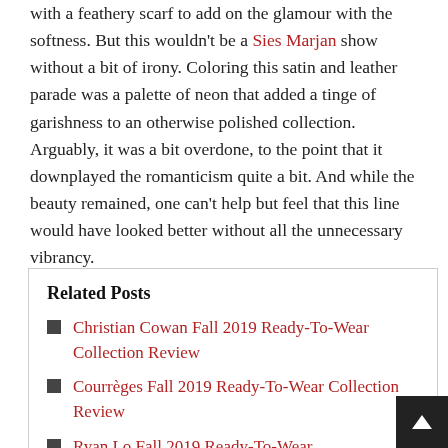with a feathery scarf to add on the glamour with the softness. But this wouldn't be a Sies Marjan show without a bit of irony. Coloring this satin and leather parade was a palette of neon that added a tinge of garishness to an otherwise polished collection. Arguably, it was a bit overdone, to the point that it downplayed the romanticism quite a bit. And while the beauty remained, one can't help but feel that this line would have looked better without all the unnecessary vibrancy.
Related Posts
Christian Cowan Fall 2019 Ready-To-Wear Collection Review
Courrèges Fall 2019 Ready-To-Wear Collection Review
Ryan Lo Fall 2019 Ready-To-Wear